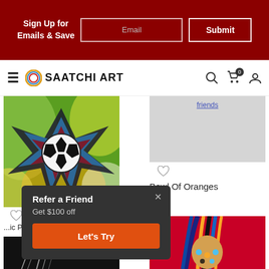Sign Up for Emails & Save  Email  Submit
SAATCHI ART
[Figure (photo): Colorful abstract painting with a soccer ball in a star burst shape on swirling green and orange background]
[Figure (photo): Partially visible dark artwork at bottom left]
...ic P...
[Figure (photo): Gray placeholder image with underlined blue link text 'friends']
[Figure (photo): Colorful portrait painting on red background with blue, yellow, and black tones]
Bowl Of Oranges
Refer a Friend
Get $100 off
Let's Try